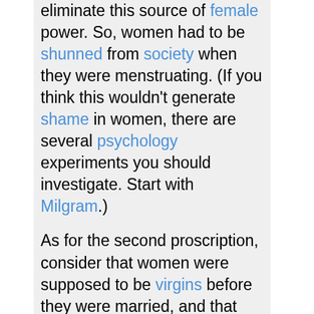eliminate this source of female power. So, women had to be shunned from society when they were menstruating. (If you think this wouldn't generate shame in women, there are several psychology experiments you should investigate. Start with Milgram.)
As for the second proscription, consider that women were supposed to be virgins before they were married, and that proof of their virginity must be given (usually in the form of stains on the sheet from breaking the hymen). If a woman were bleeding, this could not be verified. The third proscription has the side effect of having the woman be